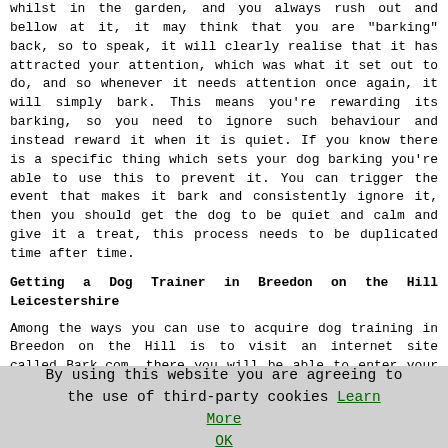whilst in the garden, and you always rush out and bellow at it, it may think that you are "barking" back, so to speak, it will clearly realise that it has attracted your attention, which was what it set out to do, and so whenever it needs attention once again, it will simply bark. This means you're rewarding its barking, so you need to ignore such behaviour and instead reward it when it is quiet. If you know there is a specific thing which sets your dog barking you're able to use this to prevent it. You can trigger the event that makes it bark and consistently ignore it, then you should get the dog to be quiet and calm and give it a treat, this process needs to be duplicated time after time.
Getting a Dog Trainer in Breedon on the Hill Leicestershire
Among the ways you can use to acquire dog training in Breedon on the Hill is to visit an internet site called Bark.com, there you will be able to enter your particular needs and they will do much of the hard work on your behalf. Head over to the website HERE and pick the appropriate boxes
By using this website you are agreeing to the use of third-party cookies Learn More OK